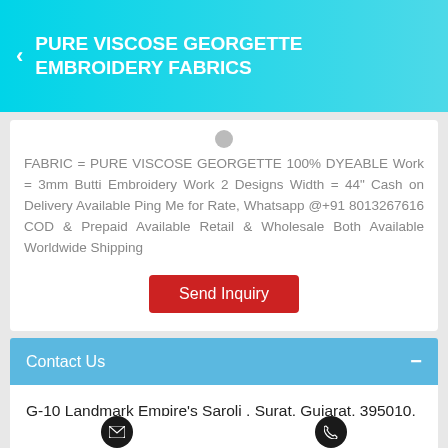PURE VISCOSE GEORGETTE EMBROIDERY FABRICS
FABRIC = PURE VISCOSE GEORGETTE 100% DYEABLE Work = 3mm Butti Embroidery Work 2 Designs Width = 44" Cash on Delivery Available Ping Me for Rate, Whatsapp @+91 8013267616 COD & Prepaid Available Retail & Wholesale Both Available Worldwide Shipping
Contact Us
G-10 Landmark Empire's Saroli , Surat, Gujarat, 395010, India
Phone :+918035928267